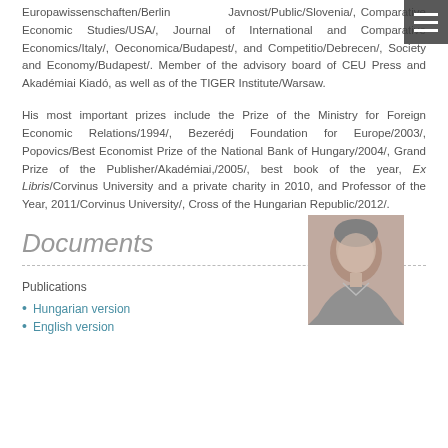Europawissenschaften/Berlin Javnost/Public/Slovenia/, Comparative Economic Studies/USA/, Journal of International and Comparative Economics/Italy/, Oeconomica/Budapest/, and Competitio/Debrecen/, Society and Economy/Budapest/. Member of the advisory board of CEU Press and Akadémiai Kiadó, as well as of the TIGER Institute/Warsaw.
His most important prizes include the Prize of the Ministry for Foreign Economic Relations/1994/, Bezerédj Foundation for Europe/2003/, Popovics/Best Economist Prize of the National Bank of Hungary/2004/, Grand Prize of the Publisher/Akadémiai,/2005/, best book of the year, Ex Libris/Corvinus University and a private charity in 2010, and Professor of the Year, 2011/Corvinus University/, Cross of the Hungarian Republic/2012/.
[Figure (photo): Black and white portrait photo of a person, overlaid on the text block]
Documents
Publications
Hungarian version
English version